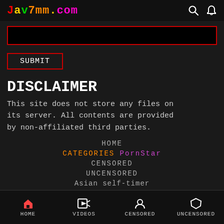Jav7mm.com
[Figure (screenshot): Black search input box with red border]
SUBMIT
DISCLAIMER
This site does not store any files on its server. All contents are provided by non-affiliated third parties.
HOME
CATEGORIES PornStar
CENSORED
UNCENSORED
Asian self-timer
HOME  VIDEOS  CENSORED  UNCENSORED